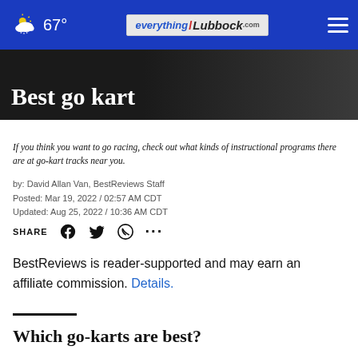67° | everything/Lubbock.com
Best go kart
If you think you want to go racing, check out what kinds of instructional programs there are at go-kart tracks near you.
by: David Allan Van, BestReviews Staff
Posted: Mar 19, 2022 / 02:57 AM CDT
Updated: Aug 25, 2022 / 10:36 AM CDT
SHARE
BestReviews is reader-supported and may earn an affiliate commission. Details.
Which go-karts are best?